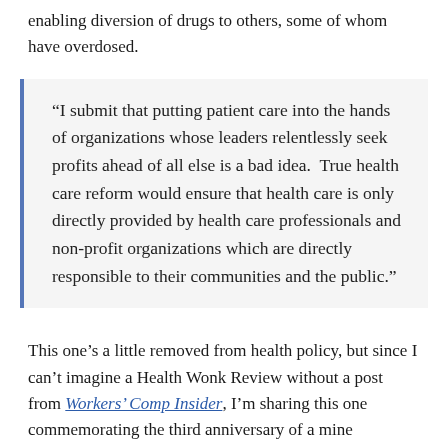enabling diversion of drugs to others, some of whom have overdosed.
“I submit that putting patient care into the hands of organizations whose leaders relentlessly seek profits ahead of all else is a bad idea.  True health care reform would ensure that health care is only directly provided by health care professionals and non-profit organizations which are directly responsible to their communities and the public.”
This one’s a little removed from health policy, but since I can’t imagine a Health Wonk Review without a post from Workers’ Comp Insider, I’m sharing this one commemorating the third anniversary of a mine explosion that killed 29 workers and reporting on the latest developments in the investigation.